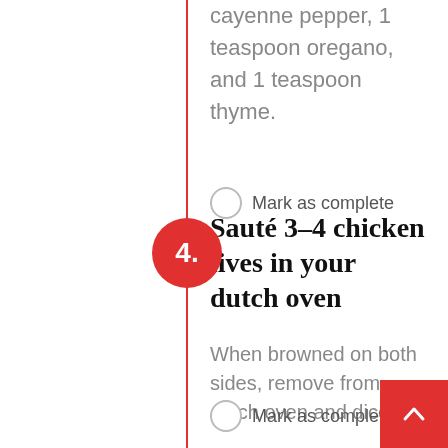teaspoon cumin, 2 teaspoon cayenne pepper, 1 teaspoon oregano, and 1 teaspoon thyme.
Mark as complete
4. Sauté 3–4 chicken lives in your dutch oven
When browned on both sides, remove from dutch oven and dice.
Mark as complete